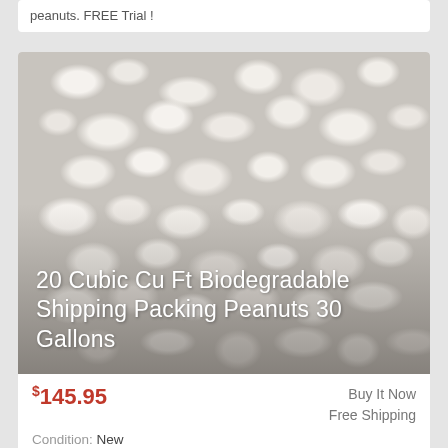peanuts. FREE Trial !
[Figure (photo): Close-up photo of white biodegradable packing peanuts filling the frame, with overlaid product title text '20 Cubic Cu Ft Biodegradable Shipping Packing Peanuts 30 Gallons']
$145.95
Buy It Now
Free Shipping
Condition: New
Location: Cleveland, United States
20 Cubic Feet (10 Bags). Decomposes in water leaving no toxins.